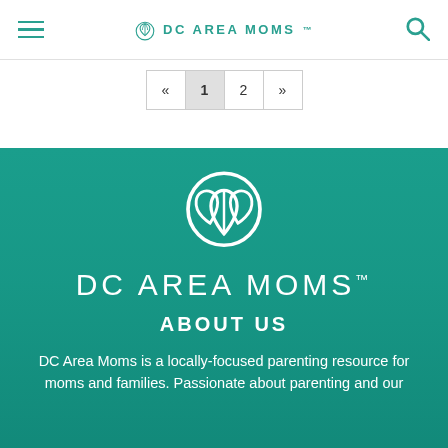DC AREA MOMS™
« 1 2 »
[Figure (screenshot): DC Area Moms website hero section with teal overlay over a group photo of women, showing the DC Area Moms logo, brand name, ABOUT US heading, and introductory text.]
DC AREA MOMS™
ABOUT US
DC Area Moms is a locally-focused parenting resource for moms and families. Passionate about parenting and our